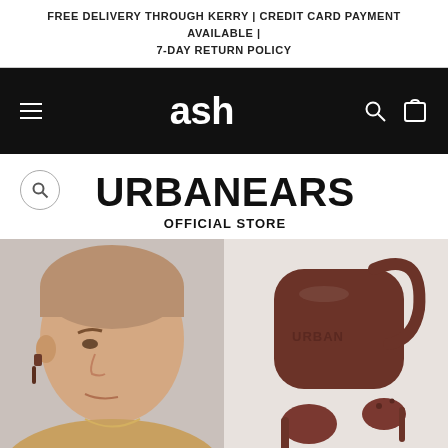FREE DELIVERY THROUGH KERRY | CREDIT CARD PAYMENT AVAILABLE | 7-DAY RETURN POLICY
[Figure (logo): ash store navigation bar with hamburger menu, ash logo in white on black background, search and cart icons]
URBANEARS
OFFICIAL STORE
[Figure (photo): Left half: close-up photo of a young man with short hair wearing a brown wireless earbud in his ear. Right half: product photo of Urbanears brown wireless earbuds with case and loop on light background.]